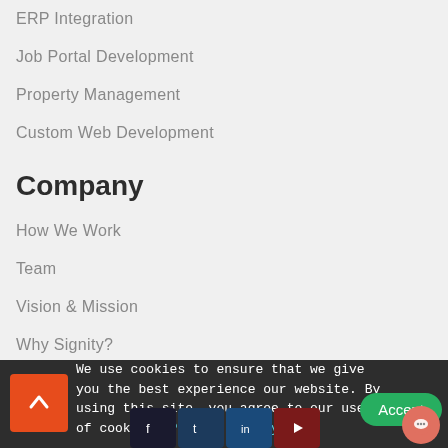ERP Integration
Job Portal Development
Property Management
Custom Web Development
Company
How We Work
Team
Vision & Mission
Why Signity?
Life @ Signity
Jobs @ Signity
Become a Partner
We use cookies to ensure that we give you the best experience our website. By using this site, you agree to our use of cookies. Privacy policy Accept